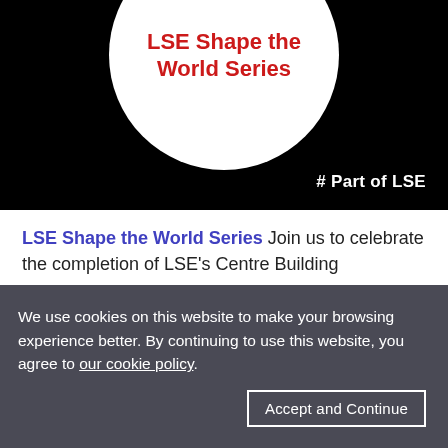[Figure (illustration): Black background image with a large white circle in the center containing bold red text 'LSE Shape the World Series'. Bottom right shows white text '# Part of LSE'.]
LSE Shape the World Series Join us to celebrate the completion of LSE's Centre Building
We use cookies on this website to make your browsing experience better. By continuing to use this website, you agree to our cookie policy.
Accept and Continue